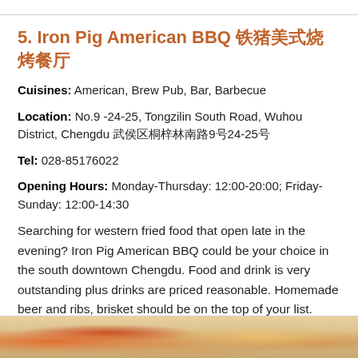5. Iron Pig American BBQ 铁猪美式烧烤餐厅
Cuisines: American, Brew Pub, Bar, Barbecue
Location: No.9 -24-25, Tongzilin South Road, Wuhou District, Chengdu 武侯区桐梓林南路9号24-25号
Tel: 028-85176022
Opening Hours: Monday-Thursday: 12:00-20:00; Friday-Sunday: 12:00-14:30
Searching for western fried food that open late in the evening? Iron Pig American BBQ could be your choice in the south downtown Chengdu. Food and drink is very outstanding plus drinks are priced reasonable. Homemade beer and ribs, brisket should be on the top of your list. Service is good too. There are three chain restaurants you can go, one in Tongzilin, others newly-opened are in U Fun and Paradise Walk.
[Figure (photo): Food photo at the bottom of the page showing BBQ dishes]